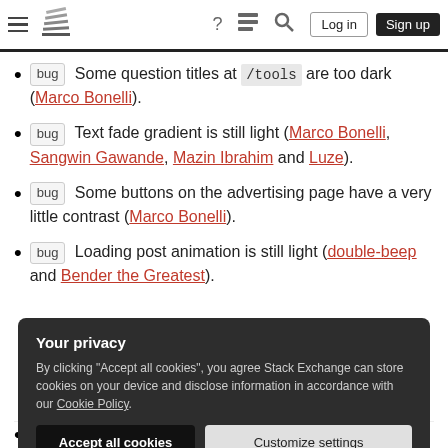Stack Exchange navigation bar with hamburger menu, logo, help, chat, search icons, Log in and Sign up buttons
bug Some question titles at /tools are too dark (Marco Bonelli).
bug Text fade gradient is still light (Marco Bonelli, Sangwin Gawande, Mazin Ibrahim and Luze).
bug Some buttons on the advertising page have a very little contrast (Marco Bonelli).
bug Loading post animation is still light (double-beep and Bender the Greatest).
Your privacy
By clicking "Accept all cookies", you agree Stack Exchange can store cookies on your device and disclose information in accordance with our Cookie Policy.
Accept all cookies  Customize settings
bug Review queue data imply opposite ...